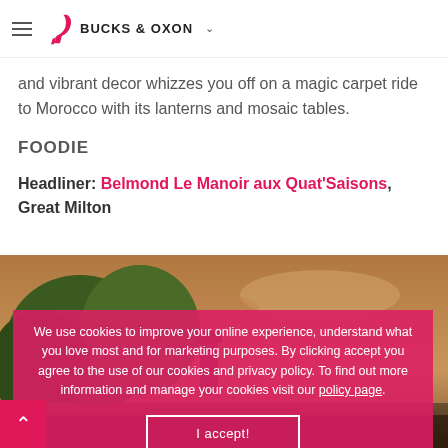BUCKS & OXON
and vibrant decor whizzes you off on a magic carpet ride to Morocco with its lanterns and mosaic tables.
FOODIE
Headliner: Belmond Le Manoir aux Quat'Saisons, Great Milton
[Figure (photo): Exterior photo of Belmond Le Manoir aux Quat'Saisons with trees and dramatic sky]
We use cookies to improve your online experience, understand what you love most and for marketing purposes. By clicking accept you agree to the use of our cookies and privacy policy. To find out more information and manage your cookies visit our policy page.
I accept!